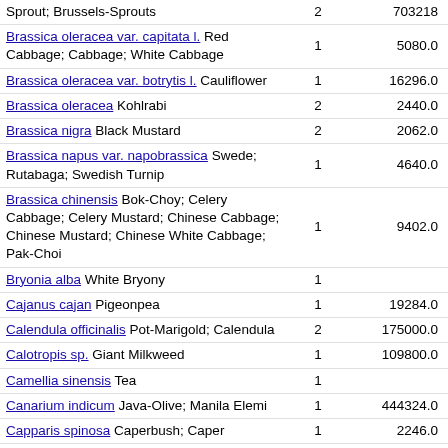| Species / Common Name | Col2 | Value |
| --- | --- | --- |
| Sprout; Brussels-Sprouts | 2 | 703218 |
| Brassica oleracea var. capitata l. Red Cabbage; Cabbage; White Cabbage | 1 | 5080.0 |
| Brassica oleracea var. botrytis l. Cauliflower | 1 | 16296.0 |
| Brassica oleracea Kohlrabi | 2 | 2440.0 |
| Brassica nigra Black Mustard | 2 | 2062.0 |
| Brassica napus var. napobrassica Swede; Rutabaga; Swedish Turnip | 1 | 4640.0 |
| Brassica chinensis Bok-Choy; Celery Cabbage; Celery Mustard; Chinese Cabbage; Chinese Mustard; Chinese White Cabbage; Pak-Choi | 1 | 9402.0 |
| Bryonia alba White Bryony | 1 |  |
| Cajanus cajan Pigeonpea | 1 | 19284.0 |
| Calendula officinalis Pot-Marigold; Calendula | 2 | 175000.0 |
| Calotropis sp. Giant Milkweed | 1 | 109800.0 |
| Camellia sinensis Tea | 1 |  |
| Canarium indicum Java-Olive; Manila Elemi | 1 | 444324.0 |
| Capparis spinosa Caperbush; Caper | 1 | 2246.0 |